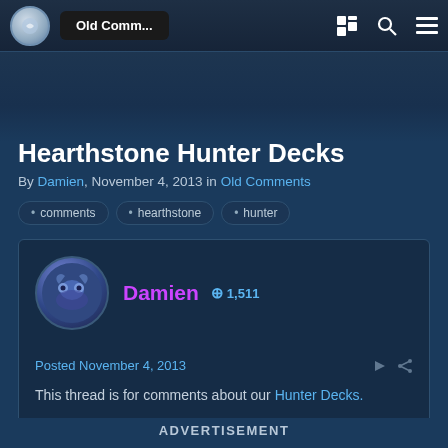Old Comm...
Hearthstone Hunter Decks
By Damien, November 4, 2013 in Old Comments
comments
hearthstone
hunter
Damien  +1,511
Posted November 4, 2013
This thread is for comments about our Hunter Decks.
ADVERTISEMENT